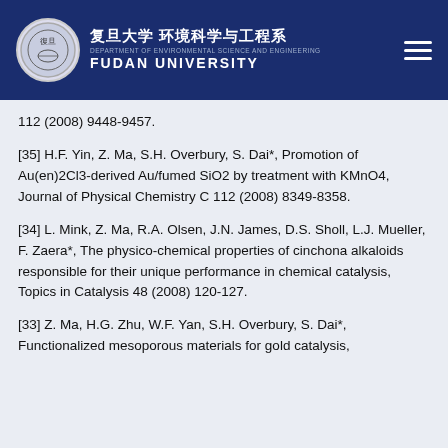复旦大学 环境科学与工程系 DEPARTMENT OF ENVIRONMENTAL SCIENCE AND ENGINEERING FUDAN UNIVERSITY
112 (2008) 9448-9457.
[35] H.F. Yin, Z. Ma, S.H. Overbury, S. Dai*, Promotion of Au(en)2Cl3-derived Au/fumed SiO2 by treatment with KMnO4, Journal of Physical Chemistry C 112 (2008) 8349-8358.
[34] L. Mink, Z. Ma, R.A. Olsen, J.N. James, D.S. Sholl, L.J. Mueller, F. Zaera*, The physico-chemical properties of cinchona alkaloids responsible for their unique performance in chemical catalysis, Topics in Catalysis 48 (2008) 120-127.
[33] Z. Ma, H.G. Zhu, W.F. Yan, S.H. Overbury, S. Dai*, Functionalized mesoporous materials for gold catalysis,